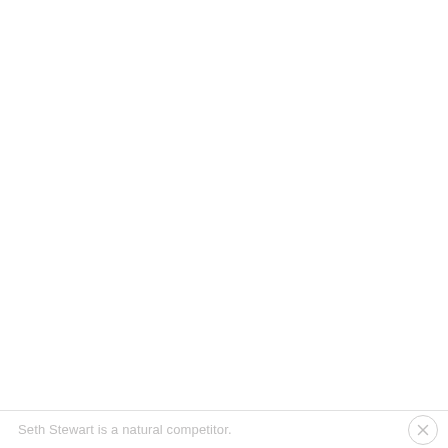Seth Stewart is a natural competitor.